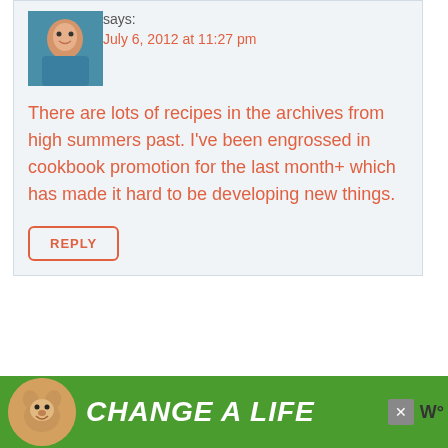says:
July 6, 2012 at 11:27 pm
There are lots of recipes in the archives from high summers past. I've been engrossed in cookbook promotion for the last month+ which has made it hard to be developing new things.
REPLY
[Figure (photo): Green advertisement banner with a dog photo and text 'CHANGE A LIFE']